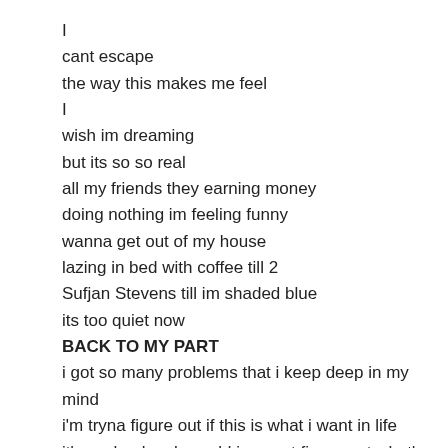I
cant escape
the way this makes me feel
I
wish im dreaming
but its so so real
all my friends they earning money
doing nothing im feeling funny
wanna get out of my house
lazing in bed with coffee till 2
Sufjan Stevens till im shaded blue
its too quiet now
BACK TO MY PART
i got so many problems that i keep deep in my mind
i'm tryna figure out if this is what i want in life
it's such a lonely world i cannot figure out what's right
damn it just sucks how easily these people leave your side